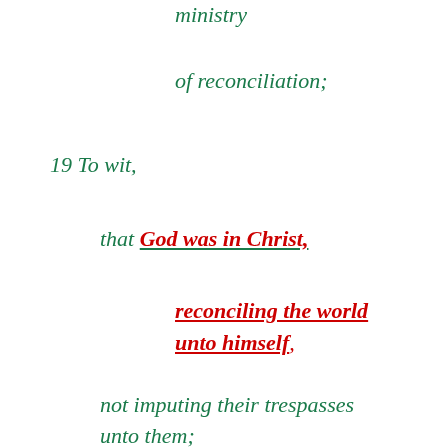ministry
of reconciliation;
19 To wit,
that God was in Christ,
reconciling the world unto himself,
not imputing their trespasses unto them;
and hath committed unto us
the word of